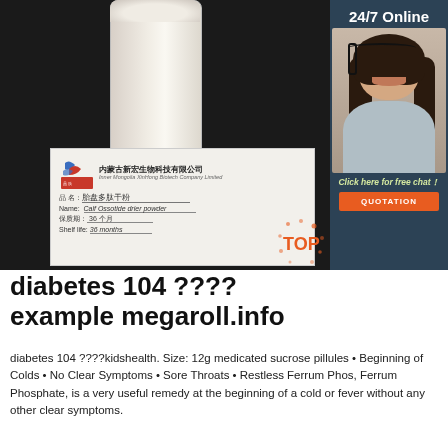[Figure (photo): Product photo showing a glass of white liquid (milk-like substance) on dark background with a product label card from Inner Mongolia XinHong Biotech Company Limited, showing Calf Ossotide drier powder, shelf life 36 months]
[Figure (photo): Sidebar with '24/7 Online' text, photo of female customer service agent with headset, 'Click here for free chat!' text, and orange QUOTATION button on dark blue background]
diabetes 104 ????example megaroll.info
diabetes 104 ????kidshealth. Size: 12g medicated sucrose pillules • Beginning of Colds • No Clear Symptoms • Sore Throats • Restless Ferrum Phos, Ferrum Phosphate, is a very useful remedy at the beginning of a cold or fever without any other clear symptoms.